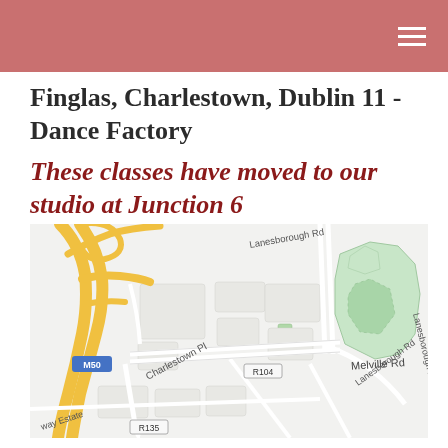Finglas, Charlestown, Dublin 11 - Dance Factory
These classes have moved to our studio at Junction 6
[Figure (map): Street map showing Charlestown area of Dublin 11, featuring M50 motorway junction, Charlestown Pl, Melville Rd, Lanesborough Rd, R104 and R135 road labels, with green park areas on the right side of the map.]